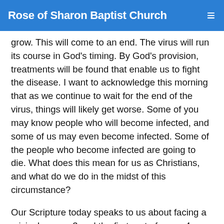Rose of Sharon Baptist Church
grow. This will come to an end. The virus will run its course in God’s timing. By God’s provision, treatments will be found that enable us to fight the disease. I want to acknowledge this morning that as we continue to wait for the end of the virus, things will likely get worse. Some of you may know people who will become infected, and some of us may even become infected. Some of the people who become infected are going to die. What does this mean for us as Christians, and what do we do in the midst of this circumstance?
Our Scripture today speaks to us about facing a crisis. In verse 3 and the first part of verse 4, we find Paul giving praise to God. He praises God as the Father of our Lord Jesus Christ. I am so thankful for